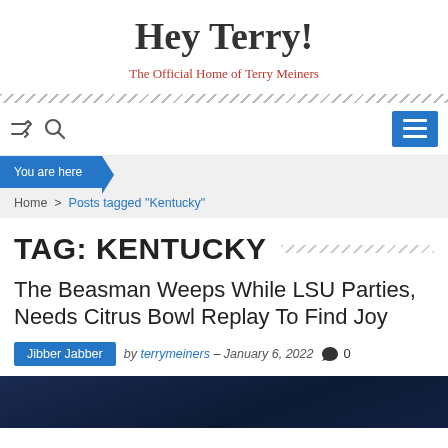Hey Terry!
The Official Home of Terry Meiners
Navigation bar with shuffle and search icons, menu button
You are here
Home > Posts tagged "Kentucky"
TAG: KENTUCKY
The Beasman Weeps While LSU Parties, Needs Citrus Bowl Replay To Find Joy
Jibber Jabber  by terrymeiners – January 6, 2022  0
[Figure (photo): Dark blue background image strip at bottom of page]